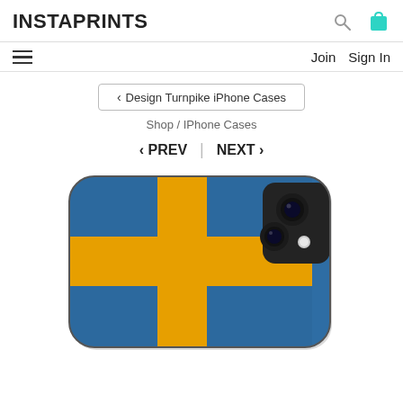INSTAPRINTS
Join  Sign In
‹ Design Turnpike iPhone Cases
Shop / IPhone Cases
‹ PREV  |  NEXT ›
[Figure (photo): iPhone case with Swedish flag design — blue background with yellow Nordic cross, grunge/vintage texture, showing the back of a modern iPhone with dual camera module in upper right corner.]